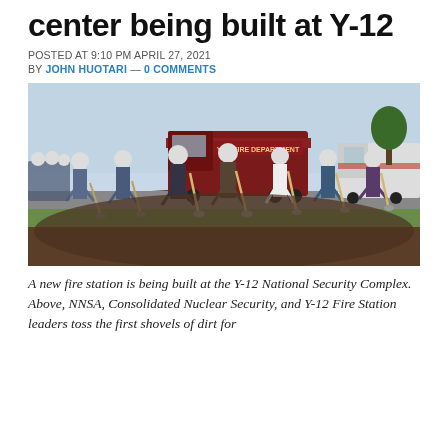center being built at Y-12
POSTED AT 9:10 PM APRIL 27, 2021
BY JOHN HUOTARI — 0 COMMENTS
[Figure (photo): Group of people in hard hats and uniforms tossing first shovels of dirt at a groundbreaking ceremony, with a Y-12 Fire Department truck in the background.]
A new fire station is being built at the Y-12 National Security Complex. Above, NNSA, Consolidated Nuclear Security, and Y-12 Fire Station leaders toss the first shovels of dirt for